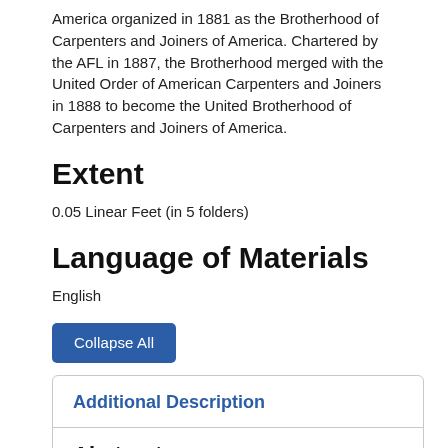America organized in 1881 as the Brotherhood of Carpenters and Joiners of America. Chartered by the AFL in 1887, the Brotherhood merged with the United Order of American Carpenters and Joiners in 1888 to become the United Brotherhood of Carpenters and Joiners of America.
Extent
0.05 Linear Feet (in 5 folders)
Language of Materials
English
Collapse All
Additional Description
Abstract: